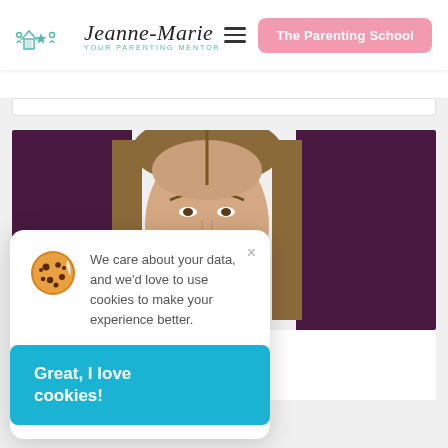Jeanne-Marie Your Parenting Mentor | The Parenting School
[Figure (photo): Website screenshot showing Jeanne-Marie parenting mentor site with a woman's face partially visible against dark purple panels, and a cookie consent popup overlay]
We care about your data, and we'd love to use cookies to make your experience better.
Great, I love cookies!
or to Lane